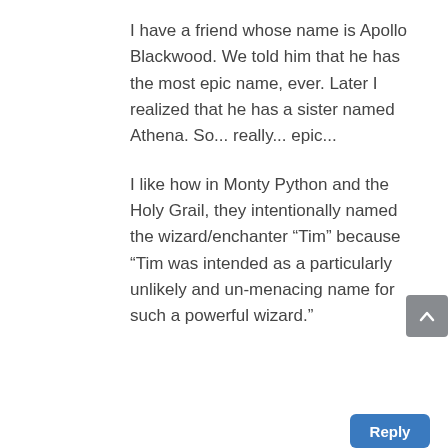I have a friend whose name is Apollo Blackwood. We told him that he has the most epic name, ever. Later I realized that he has a sister named Athena. So... really... epic...
I like how in Monty Python and the Holy Grail, they intentionally named the wizard/enchanter “Tim” because “Tim was intended as a particularly unlikely and un-menacing name for such a powerful wizard.”